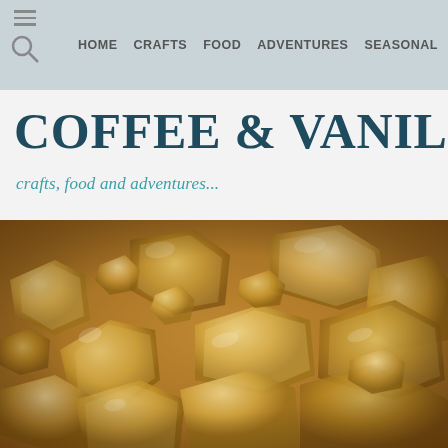HOME  CRAFTS  FOOD  ADVENTURES  SEASONAL  STORE
COFFEE & VANILLA
crafts, food and adventures...
[Figure (photo): Close-up macro photo of amber/golden rock sugar crystals piled together, filling the entire frame]